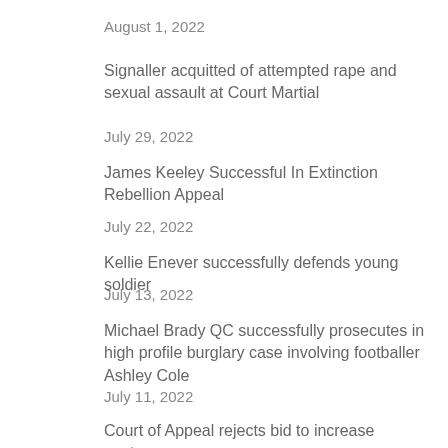August 1, 2022
Signaller acquitted of attempted rape and sexual assault at Court Martial
July 29, 2022
James Keeley Successful In Extinction Rebellion Appeal
July 22, 2022
Kellie Enever successfully defends young soldier
July 13, 2022
Michael Brady QC successfully prosecutes in high profile burglary case involving footballer Ashley Cole
July 11, 2022
Court of Appeal rejects bid to increase sentence
July 6, 2022